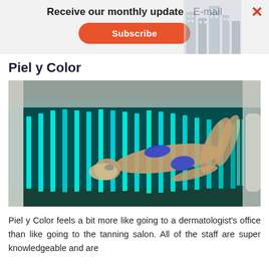Receive our monthly update   E-mail   Subscribe
Piel y Color
[Figure (photo): Person in a blue bikini lying in a tanning bed with bright blue/teal UV lights illuminating the interior of the tanning booth.]
Piel y Color feels a bit more like going to a dermatologist's office than like going to the tanning salon. All of the staff are super knowledgeable and are